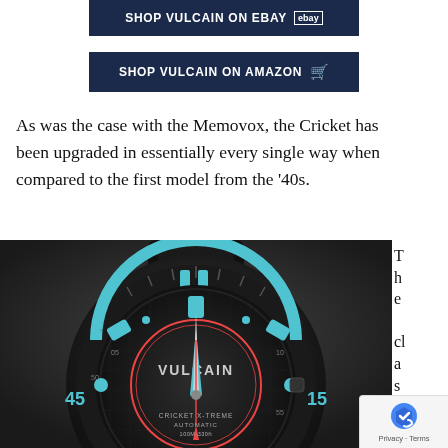[Figure (other): Dark navy button: SHOP VULCAIN ON EBAY with eBay logo]
[Figure (other): Dark navy button: SHOP VULCAIN ON AMAZON with Amazon icon]
As was the case with the Memovox, the Cricket has been upgraded in essentially every single way when compared to the first model from the '40s.
[Figure (photo): Close-up photograph of a Vulcain Cricket X-Treme Automatic diver watch with black case, blue and black bezel, blue luminous markers, and red seconds hand. The dial reads CRICKET X-TREME AUTOMATIC 100M-330ft. The date window shows 8.]
The classic